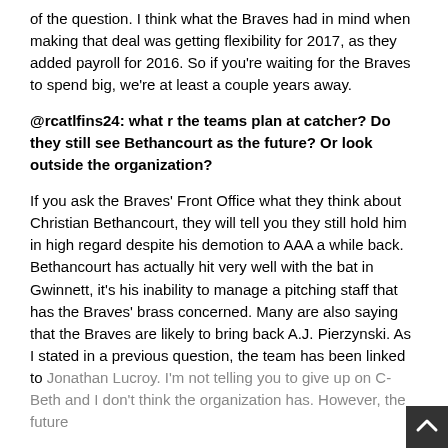of the question. I think what the Braves had in mind when making that deal was getting flexibility for 2017, as they added payroll for 2016. So if you're waiting for the Braves to spend big, we're at least a couple years away.
@rcatlfins24: what r the teams plan at catcher? Do they still see Bethancourt as the future? Or look outside the organization?
If you ask the Braves' Front Office what they think about Christian Bethancourt, they will tell you they still hold him in high regard despite his demotion to AAA a while back. Bethancourt has actually hit very well with the bat in Gwinnett, it's his inability to manage a pitching staff that has the Braves' brass concerned. Many are also saying that the Braves are likely to bring back A.J. Pierzynski. As I stated in a previous question, the team has been linked to Jonathan Lucroy. I'm not telling you to give up on C-Beth and I don't think the organization has. However, the future